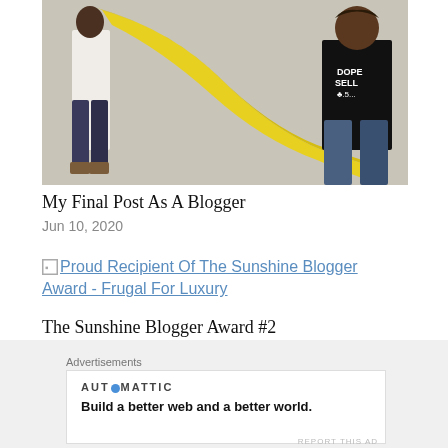[Figure (photo): Two people holding a large yellow fabric/cloth between them against a light wall. One person on the left wears a white shirt and jeans, the other on the right wears a black t-shirt with text and jeans.]
My Final Post As A Blogger
Jun 10, 2020
[Figure (photo): Broken image placeholder icon followed by link text: Proud Recipient Of The Sunshine Blogger Award - Frugal For Luxury]
The Sunshine Blogger Award #2
Jul 3, 2020
Advertisements
AUT⊙MATTIC
Build a better web and a better world.